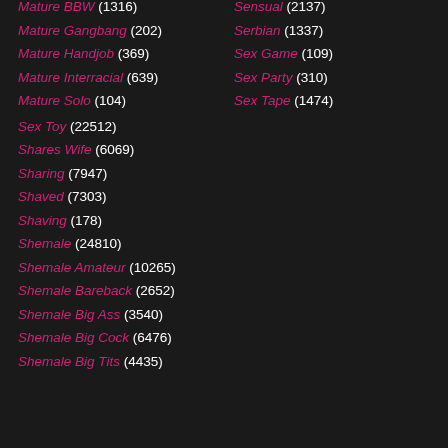Mature BBW (1316)
Sensual (2137)
Mature Gangbang (202)
Serbian (1337)
Mature Handjob (369)
Sex Game (109)
Mature Interracial (639)
Sex Party (310)
Mature Solo (104)
Sex Tape (1474)
Sex Toy (22512)
Shares Wife (6069)
Sharing (7947)
Shaved (7303)
Shaving (178)
Shemale (24810)
Shemale Amateur (10265)
Shemale Bareback (2652)
Shemale Big Ass (3540)
Shemale Big Cock (6476)
Shemale Big Tits (4435)